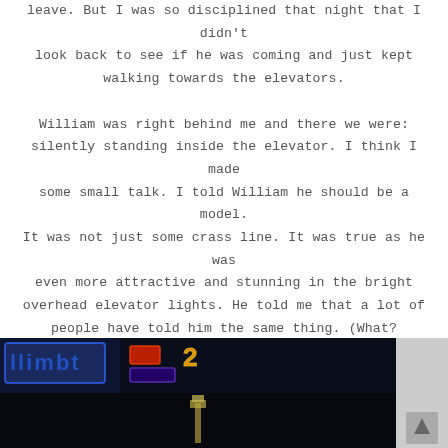leave. But I was so disciplined that night that I didn't look back to see if he was coming and just kept walking towards the elevators.

William was right behind me and there we were: silently standing inside the elevator. I think I made some small talk. I told William he should be a model. It was not just some crass line. It was true as he was even more attractive and stunning in the bright overhead elevator lights. He told me that a lot of people have told him the same thing. (What? Someone else is as insightful as me?) I asked him his nationality and William told me that he's Italian, German, French, Scottish and American Indian. I feel as if I am now the ambassador to the United Nations.
[Figure (photo): Dark nighttime photo with blue neon lights and a dark background, partial view of city scene with neon signage]